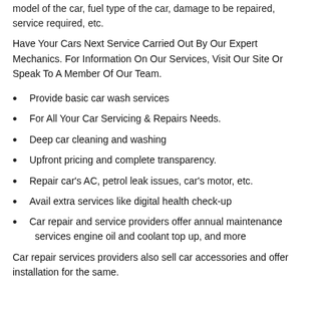model of the car, fuel type of the car, damage to be repaired, service required, etc.
Have Your Cars Next Service Carried Out By Our Expert Mechanics. For Information On Our Services, Visit Our Site Or Speak To A Member Of Our Team.
Provide basic car wash services
For All Your Car Servicing & Repairs Needs.
Deep car cleaning and washing
Upfront pricing and complete transparency.
Repair car's AC, petrol leak issues, car's motor, etc.
Avail extra services like digital health check-up
Car repair and service providers offer annual maintenance services engine oil and coolant top up, and more
Car repair services providers also sell car accessories and offer installation for the same.